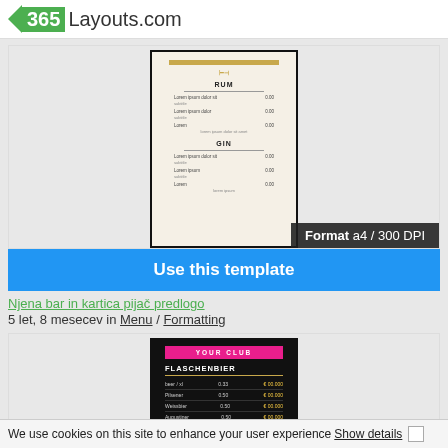365Layouts.com
[Figure (screenshot): Preview of a menu template document showing sections for RUM and GIN with items and prices, on a beige/cream background with black border]
Format a4 / 300 DPI
Use this template
Njena bar in kartica pijač predlogo
5 let, 8 mesecev in Menu / Formatting
[Figure (screenshot): Preview of a dark-themed club menu template with pink 'YOUR CLUB' header bar, 'FLASCHENBIER' section with bottle beer items and prices, and 'Soft' section beginning]